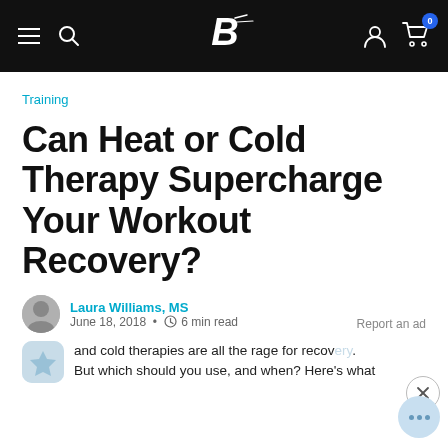Bodybuilding.com navigation bar with hamburger menu, search icon, B logo, user icon, cart icon (0)
Training
Can Heat or Cold Therapy Supercharge Your Workout Recovery?
Laura Williams, MS • June 18, 2018 • 6 min read
Report an ad
and cold therapies are all the rage for recovery. But which should you use, and when? Here's what